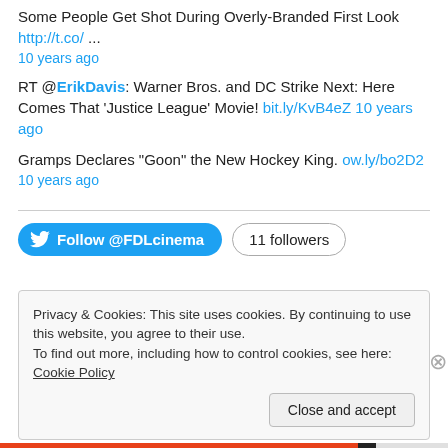Some People Get Shot During Overly-Branded First Look http://t.co/ ...
10 years ago
RT @ErikDavis: Warner Bros. and DC Strike Next: Here Comes That 'Justice League' Movie! bit.ly/KvB4eZ 10 years ago
Gramps Declares "Goon" the New Hockey King. ow.ly/bo2D2
10 years ago
[Figure (other): Follow @FDLcinema Twitter button and 11 followers badge]
Privacy & Cookies: This site uses cookies. By continuing to use this website, you agree to their use. To find out more, including how to control cookies, see here: Cookie Policy